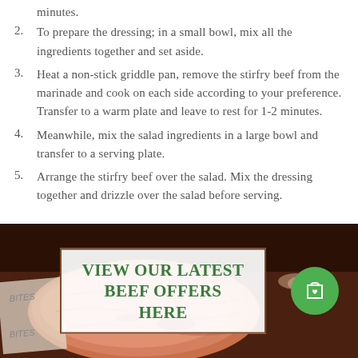minutes.
2. To prepare the dressing; in a small bowl, mix all the ingredients together and set aside.
3. Heat a non-stick griddle pan, remove the stirfry beef from the marinade and cook on each side according to your preference. Transfer to a warm plate and leave to rest for 1-2 minutes.
4. Meanwhile, mix the salad ingredients in a large bowl and transfer to a serving plate.
5. Arrange the stirfry beef over the salad. Mix the dressing together and drizzle over the salad before serving.
[Figure (photo): Photo of raw beef on paper with an overlay box saying 'VIEW OUR LATEST BEEF OFFERS HERE' and a green shopping bag circle icon on the right.]